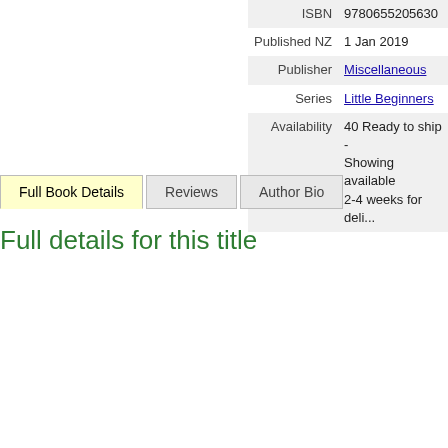| Label | Value |
| --- | --- |
| ISBN | 9780655205630 |
| Published NZ | 1 Jan 2019 |
| Publisher | Miscellaneous |
| Series | Little Beginners |
| Availability | 40 Ready to ship - Showing available 2-4 weeks for deli... |
Full Book Details | Reviews | Author Bio
Full details for this title
| Label | Value |
| --- | --- |
| ISBN-13 | 9780655205630 |
| Stock | Ready to ship - between 10 to 50 items |
| Publisher | Miscellaneous |
| Published | 1 Jan 2019 |
| Publication Country | Australia |
| Format | Not specified |
| Author(s) | By Galloway, Fbiona |